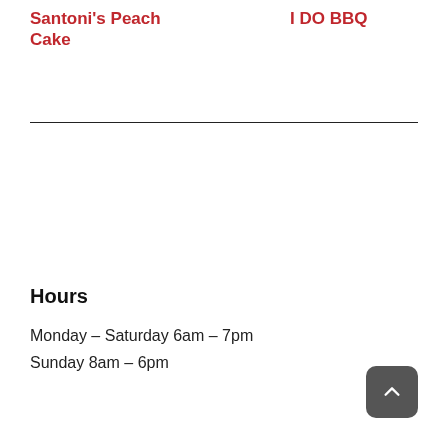Santoni's Peach Cake
I DO BBQ
Hours
Monday – Saturday 6am – 7pm
Sunday 8am – 6pm